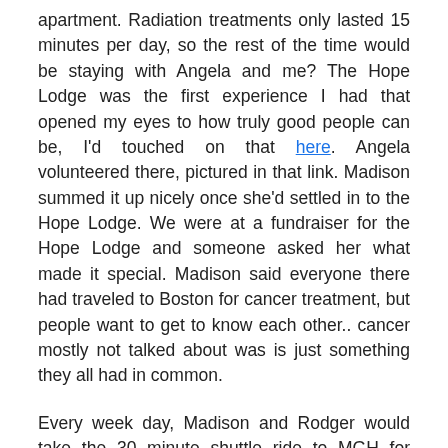apartment. Radiation treatments only lasted 15 minutes per day, so the rest of the time would be staying with Angela and me? The Hope Lodge was the first experience I had that opened my eyes to how truly good people can be, I'd touched on that here. Angela volunteered there, pictured in that link. Madison summed it up nicely once she'd settled in to the Hope Lodge. We were at a fundraiser for the Hope Lodge and someone asked her what made it special. Madison said everyone there had traveled to Boston for cancer treatment, but people want to get to know each other.. cancer mostly not talked about was is just something they all had in common.
Every week day, Madison and Rodger would take the 30 minute shuttle ride to MGH for treatment, and then come across the street to hang with us, or visit with her mom, walk to the Commons or just explore the area. Every evening knowing they had a bedroom then and there, they still took the two trains required to get back to the Hope Lodge. Madison found her peeps, and Rodger by nature is a social butterfly. Early on, scared newbies trickled in early in their journey to Boston. The tribal elders who had been there a while embraced them and